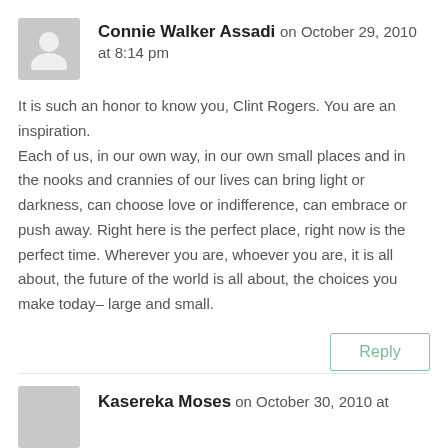Connie Walker Assadi on October 29, 2010 at 8:14 pm
It is such an honor to know you, Clint Rogers. You are an inspiration.
Each of us, in our own way, in our own small places and in the nooks and crannies of our lives can bring light or darkness, can choose love or indifference, can embrace or push away. Right here is the perfect place, right now is the perfect time. Wherever you are, whoever you are, it is all about, the future of the world is all about, the choices you make today– large and small.
Reply
Kasereka Moses on October 30, 2010 at